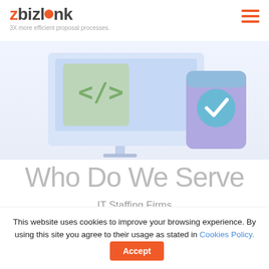zbizl0nk — 3X more efficient proposal processes.
[Figure (illustration): Illustration of a desktop computer monitor with code brackets and a mobile device with a checkmark, in light blue and purple tones]
Who Do We Serve
IT Staffing Firms
This website uses cookies to improve your browsing experience. By using this site you agree to their usage as stated in Cookies Policy.